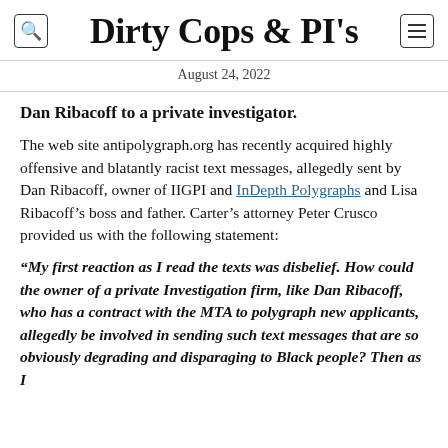Dirty Cops & PI's
August 24, 2022
Dan Ribacoff to a private investigator.
The web site antipolygraph.org has recently acquired highly offensive and blatantly racist text messages, allegedly sent by Dan Ribacoff, owner of IIGPI and InDepth Polygraphs and Lisa Ribacoff’s boss and father. Carter’s attorney Peter Crusco provided us with the following statement:
“My first reaction as I read the texts was disbelief. How could the owner of a private Investigation firm, like Dan Ribacoff, who has a contract with the MTA to polygraph new applicants, allegedly be involved in sending such text messages that are so obviously degrading and disparaging to Black people? Then as I